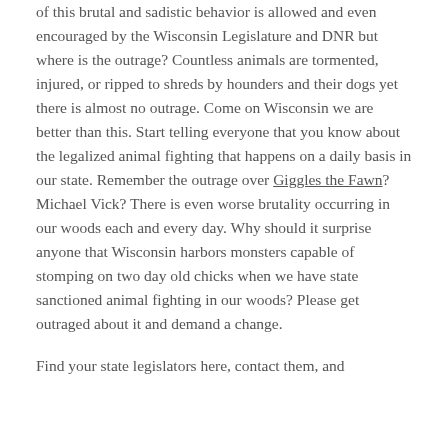of this brutal and sadistic behavior is allowed and even encouraged by the Wisconsin Legislature and DNR but where is the outrage? Countless animals are tormented, injured, or ripped to shreds by hounders and their dogs yet there is almost no outrage. Come on Wisconsin we are better than this. Start telling everyone that you know about the legalized animal fighting that happens on a daily basis in our state. Remember the outrage over Giggles the Fawn? Michael Vick? There is even worse brutality occurring in our woods each and every day. Why should it surprise anyone that Wisconsin harbors monsters capable of stomping on two day old chicks when we have state sanctioned animal fighting in our woods? Please get outraged about it and demand a change.
Find your state legislators here, contact them, and